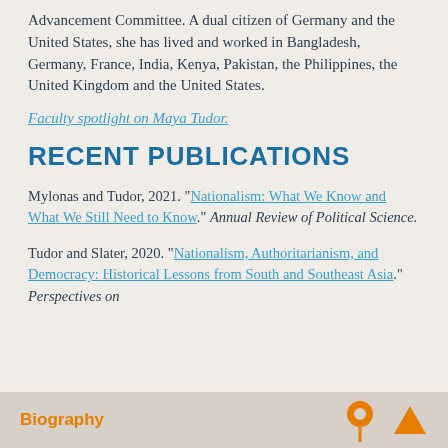Advancement Committee. A dual citizen of Germany and the United States, she has lived and worked in Bangladesh, Germany, France, India, Kenya, Pakistan, the Philippines, the United Kingdom and the United States.
Faculty spotlight on Maya Tudor.
RECENT PUBLICATIONS
Mylonas and Tudor, 2021. "Nationalism: What We Know and What We Still Need to Know." Annual Review of Political Science.
Tudor and Slater, 2020. "Nationalism, Authoritarianism, and Democracy: Historical Lessons from South and Southeast Asia." Perspectives on
Biography